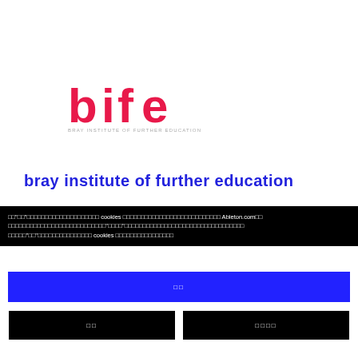[Figure (logo): BIFE logo - Bray Institute of Further Education. Bold red/pink lettering 'bife' with subtitle 'BRAY INSTITUTE OF FURTHER EDUCATION' in small grey caps.]
bray institute of further education
□□"□□"□□□□□□□□□□□□□□□□□□□□ cookies □□□□□□□□□□□□□□□□□□□□□□□□□□□ Ableton.com□□ □□□□□□□□□□□□□□□□□□□□□□□□□□□"□□□□"□□□□□□□□□□□□□□□□□□□□□□□□□□□□□□□□□ □□□□□"□□"□□□□□□□□□□□□□□□ cookies □□□□□□□□□□□□□□□□
□□
□□
□□□□